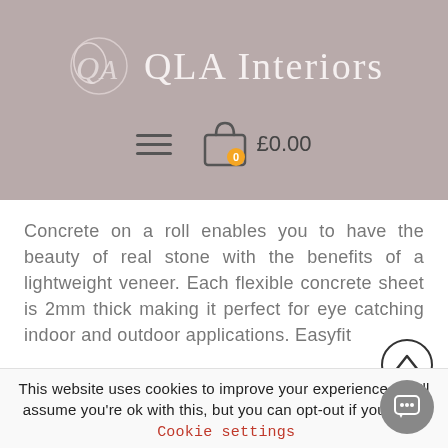QLA Interiors
Concrete on a roll enables you to have the beauty of real stone with the benefits of a lightweight veneer. Each flexible concrete sheet is 2mm thick making it perfect for eye catching indoor and outdoor applications. Easyfit
This website uses cookies to improve your experience. We'll assume you're ok with this, but you can opt-out if you wish. Cookie settings ACCEPT